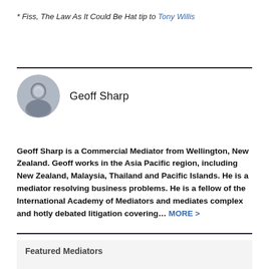* Fiss, The Law As It Could Be Hat tip to Tony Willis
[Figure (photo): Circular avatar photo of Geoff Sharp]
Geoff Sharp
Geoff Sharp is a Commercial Mediator from Wellington, New Zealand. Geoff works in the Asia Pacific region, including New Zealand, Malaysia, Thailand and Pacific Islands. He is a mediator resolving business problems. He is a fellow of the International Academy of Mediators and mediates complex and hotly debated litigation covering... MORE >
Featured Mediators